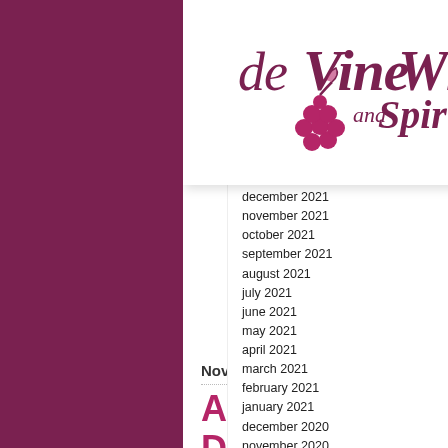[Figure (logo): deVine Wines and Spirits logo — cursive text with grape cluster illustration in dark rose/burgundy]
archives
august 2022
july 2022
june 2022
may 2022
april 2022
march 2022
february 2022
january 2022
december 2021
november 2021
october 2021
september 2021
august 2021
july 2021
june 2021
may 2021
april 2021
march 2021
february 2021
january 2021
december 2020
november 2020
october 2020
september 2020
august 2020
july 2020
june 2020
may 2020
april 2020
November 30, 2021
Annual Cu... Days
Filed under: deVine's Daily Bl...
[Figure (photo): Photo of wine bottles on shelves in a wine shop]